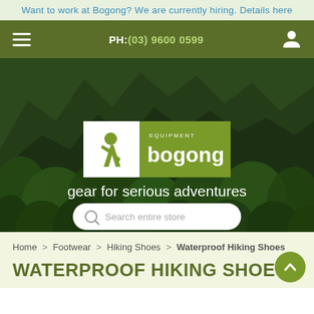Want to work at Bogong? We are currently hiring. Details here
PH: (03) 9600 0599
[Figure (screenshot): Hero banner with jungle and mountain background, Bogong Equipment logo, tagline 'gear for serious adventures', and search bar]
Home > Footwear > Hiking Shoes > Waterproof Hiking Shoes
WATERPROOF HIKING SHOES